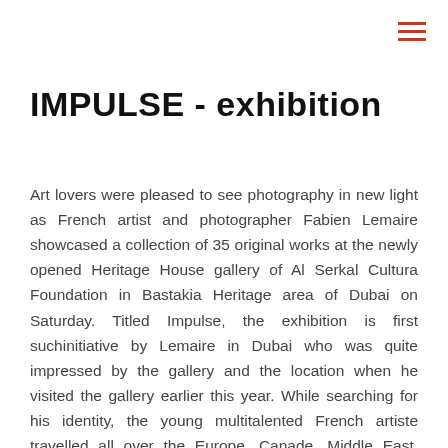≡
IMPULSE - exhibition
Art lovers were pleased to see photography in new light as French artist and photographer Fabien Lemaire showcased a collection of 35 original works at the newly opened Heritage House gallery of Al Serkal Cultura Foundation in Bastakia Heritage area of Dubai on Saturday. Titled Impulse, the exhibition is first suchinitiative by Lemaire in Dubai who was quite impressed by the gallery and the location when he visited the gallery earlier this year. While searching for his identity, the young multitalented French artiste travelled all over the Europe, Canade, Middle East, Morocco wich inspired him of capturing the urban landscapes melted with humanity and nature. Recalling his first visit to the heritage area, the artist-photographer said he was smitten by the location and decided to proctuce something very unique when Ahmed Bin Eisa Al Serkal, managing director of the foundation, invited him to exhibit his works at the gallery. he let himself inspired by the two elements that dominate Dubai - Water and movement . "Water is omnipresent despite the desert all around the emirate, while movement